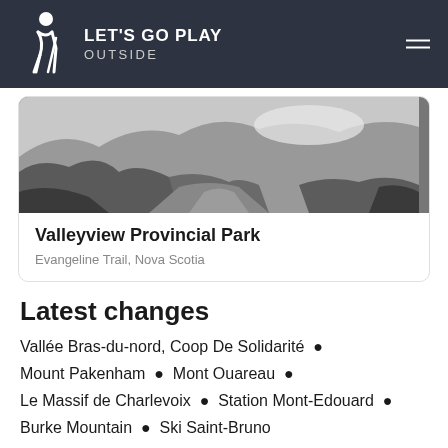LET'S GO PLAY OUTSIDE
[Figure (photo): Black and white landscape photo of a rocky trail through a canyon or rocky terrain]
Valleyview Provincial Park
Evangeline Trail, Nova Scotia
Latest changes
Vallée Bras-du-nord, Coop De Solidarité •
Mount Pakenham • Mont Ouareau •
Le Massif de Charlevoix • Station Mont-Edouard •
Burke Mountain • Ski Saint-Bruno